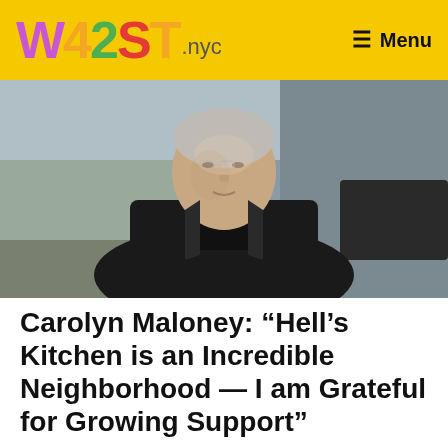W42ST.nyc  Menu
[Figure (photo): Portrait photo of Carolyn Maloney standing outdoors on a city street, wearing a black blazer and black top, with blurred urban background]
Carolyn Maloney: “Hell’s Kitchen is an Incredible Neighborhood — I am Grateful for Growing Support”
by W42ST
August 17, 2022